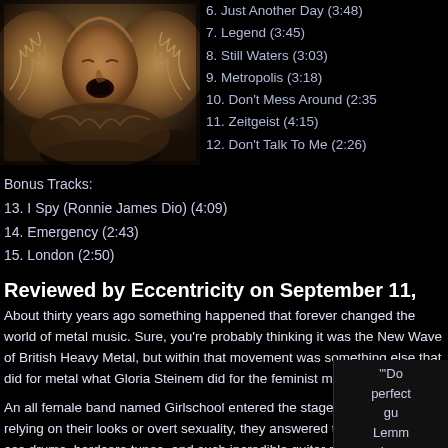[Figure (photo): Album artwork showing a stone relief sculpture of a face with wings, metallic copper tones]
6. Just Another Day (3:48)
7. Legend (3:45)
8. Still Waters (3:03)
9. Metropolis (3:18)
10. Don't Mess Around (2:35)
11. Zeitgeist (4:15)
12. Don't Talk To Me (2:26)
Bonus Tracks:
13. I Spy (Ronnie James Dio) (4:09)
14. Emergency (2:43)
15. London (2:50)
Reviewed by Eccentricity on September 11,
About thirty years ago something happened that forever changed the world of metal music. Sure, you're probably thinking it was the New Wave of British Heavy Metal, but within that movement was something else that did for metal what Gloria Steinem did for the feminist movement.
An all female band named Girlschool entered the stage, and rather than relying on their looks or overt sexuality, they answered the call with kick ass drums, hardcore tunes, and such incredible guitar riffs that musicians like Motorhead's